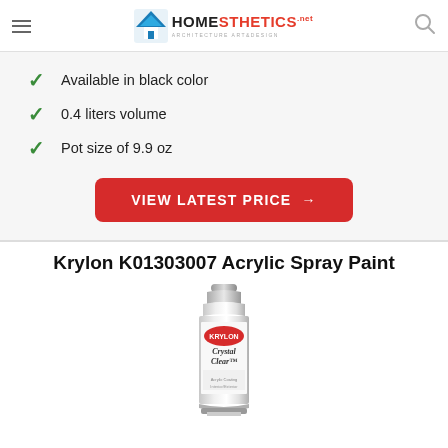Homesthetics — Architecture Art&Design
Available in black color
0.4 liters volume
Pot size of 9.9 oz
VIEW LATEST PRICE →
Krylon K01303007 Acrylic Spray Paint
[Figure (photo): Krylon Crystal Clear acrylic spray paint can, silver/clear finish, shown vertically]